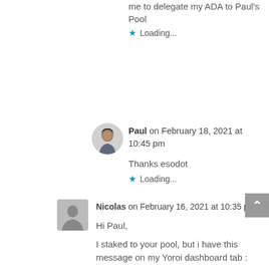me to delegate my ADA to Paul's Pool
Loading...
Paul on February 18, 2021 at 10:45 pm
Thanks esodot
Loading...
Nicolas on February 16, 2021 at 10:35 pm
Hi Paul,
I staked to your pool, but i have this message on my Yoroi dashboard tab :